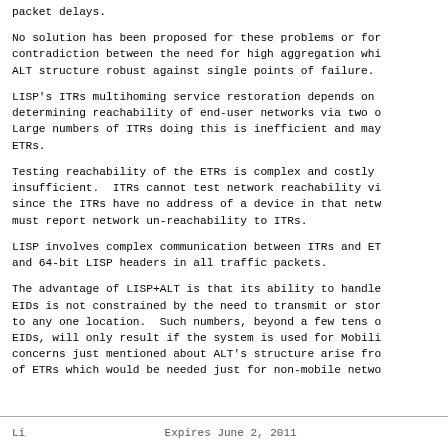packet delays.
No solution has been proposed for these problems or for contradiction between the need for high aggregation whi ALT structure robust against single points of failure.
LISP's ITRs multihoming service restoration depends on determining reachability of end-user networks via two o Large numbers of ITRs doing this is inefficient and may ETRs.
Testing reachability of the ETRs is complex and costly insufficient.  ITRs cannot test network reachability vi since the ITRs have no address of a device in that netw must report network un-reachability to ITRs.
LISP involves complex communication between ITRs and ET and 64-bit LISP headers in all traffic packets.
The advantage of LISP+ALT is that its ability to handle EIDs is not constrained by the need to transmit or stor to any one location.  Such numbers, beyond a few tens o EIDs, will only result if the system is used for Mobili concerns just mentioned about ALT's structure arise fro of ETRs which would be needed just for non-mobile netwo
Li                         Expires June 2, 2011